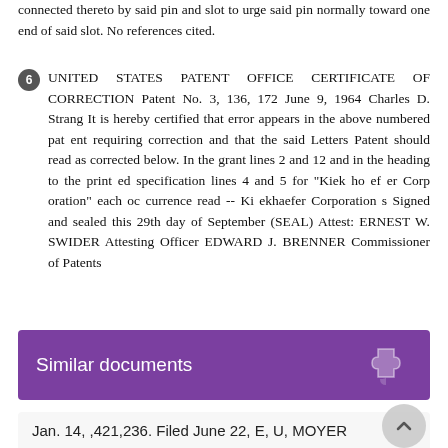connected thereto by said pin and slot to urge said pin normally toward one end of said slot. No references cited.
6 UNITED STATES PATENT OFFICE CERTIFICATE OF CORRECTION Patent No. 3, 136, 172 June 9, 1964 Charles D. Strang It is hereby certified that error appears in the above numbered pat ent requiring correction and that the said Letters Patent should read as corrected below. In the grant lines 2 and 12 and in the heading to the print ed specification lines 4 and 5 for "Kiek ho ef er Corp oration" each oc currence read -- Ki ekhaefer Corporation s Signed and sealed this 29th day of September (SEAL) Attest: ERNEST W. SWIDER Attesting Officer EDWARD J. BRENNER Commissioner of Patents
Similar documents
Jan. 14, ,421,236. Filed June 22, E, U, MOYER ATTORNEYS LINKAGE FOR AN EJECTOR